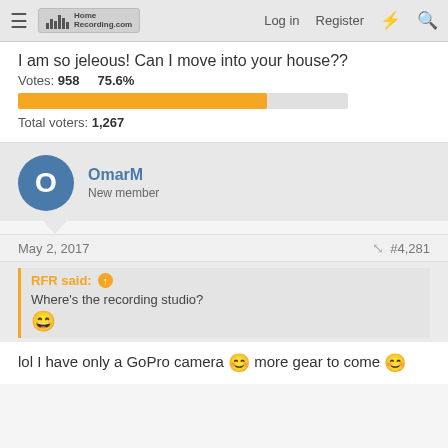HomeRecording.com  Log in  Register
I am so jeleous! Can I move into your house??
Votes: 958    75.6%
[Figure (other): Orange horizontal progress bar at 75.6% fill]
Total voters: 1,267
OmarM
New member
May 2, 2017
#4,281
RFR said:
Where's the recording studio?
lol I have only a GoPro camera 😊 more gear to come 😊